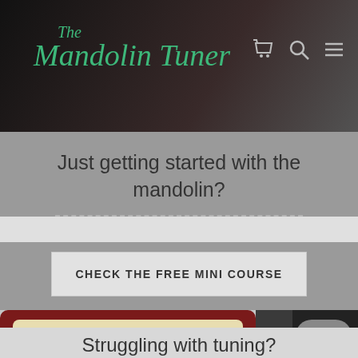The Mandolin Tuner
Just getting started with the mandolin?
CHECK THE FREE MINI COURSE
[Figure (screenshot): Screenshot of a guitar/mandolin tuner app showing an analog dial with needle pointing to A, note wheel showing G, G#, A, A#, B, and violin standard tuning panel on right with notes E5, A4, D4, G3]
Struggling with tuning?